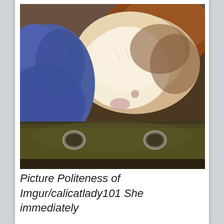[Figure (photo): A dog or cat lying on a dark olive/brown couch or cushion with metal ring hardware, partially covered by a blue cloth/blanket and a brown/white fuzzy blanket or fur.]
Picture Politeness of Imgur/calicatlady101 She immediately